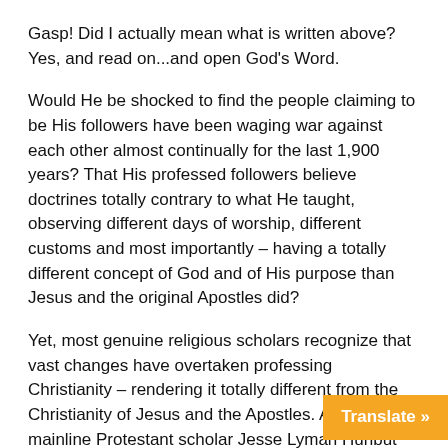Gasp! Did I actually mean what is written above? Yes, and read on...and open God's Word.
Would He be shocked to find the people claiming to be His followers have been waging war against each other almost continually for the last 1,900 years? That His professed followers believe doctrines totally contrary to what He taught, observing different days of worship, different customs and most importantly – having a totally different concept of God and of His purpose than Jesus and the original Apostles did?
Yet, most genuine religious scholars recognize that vast changes have overtaken professing Christianity – rendering it totally different from the Christianity of Jesus and the Apostles. As respected mainline Protestant scholar Jesse Lyman Hurlbut acknowledges:
“For fifty years after St. Paul’s life, a curtain hangs over the church, through which we strive vainly to l… last it rises, about 120 A.D. With the writin…